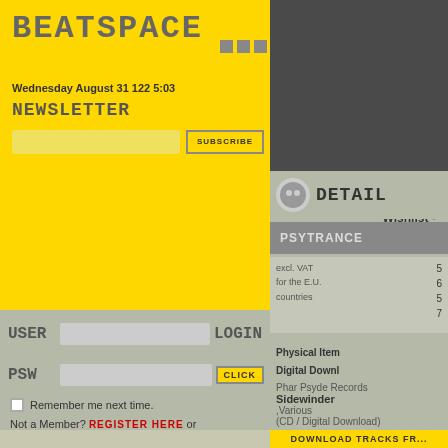BEATSPACE
Wednesday August 31 122 5:03
NEWSLETTER
SUBSCRIBE
home •
YOUR CART •
Wishlist •
Advanced Search •
general info •
USER LOGIN
PSW CLICK
Remember me next time.
Not a Member? REGISTER HERE or
Sign-in with facebook
LABELS
Select labels from list
[Figure (logo): Beatspace logo with stylized pixel font and three gray squares]
DETAIL
PSYTRANCE
excl. VAT for the E.U. countries
Physical Item
Digital Download
Phar Psyde Records
Sidewinder
,Various
(CD / Digital Download)
DOWNLOAD TRACKS FR...